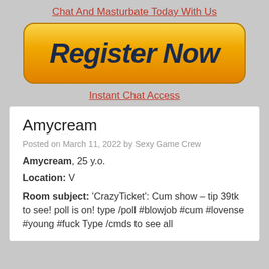Chat And Masturbate Today With Us
[Figure (other): Orange gradient Register Now button with bold italic dark navy text on grey background]
Instant Chat Access
Amycream
Posted on March 11, 2022 by Sexy Game Crew
Amycream, 25 y.o.
Location: V
Room subject: 'CrazyTicket': Cum show – tip 39tk to see! poll is on! type /poll #blowjob #cum #lovense #young #fuck Type /cmds to see all